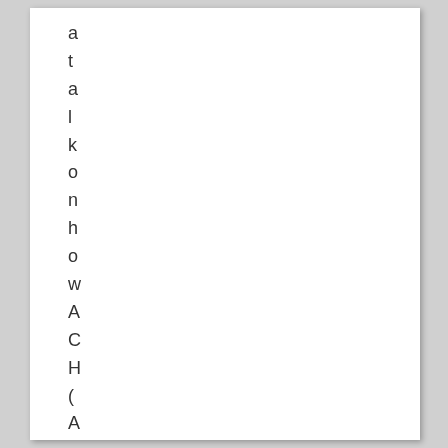a
t
a
l
k
o
n
h
o
w
A
C
H
(
A
u
t
o
m
a
t
e
d
C
l